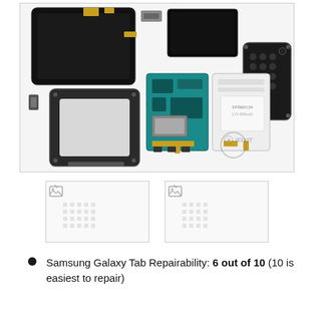[Figure (photo): Exploded teardown view of Samsung Galaxy Tab showing all internal components laid out: touchscreen digitizer, LCD display, main PCB/motherboard with circuits, battery (Samsung branded), speaker assembly, chassis frame, and back cover — iFixit teardown photo with iFixit watermark]
[Figure (photo): Small thumbnail image (broken/loading) with dot grid placeholder — iFixit thumbnail 1]
[Figure (photo): Small thumbnail image (broken/loading) with dot grid placeholder — iFixit thumbnail 2]
Samsung Galaxy Tab Repairability: 6 out of 10 (10 is easiest to repair)